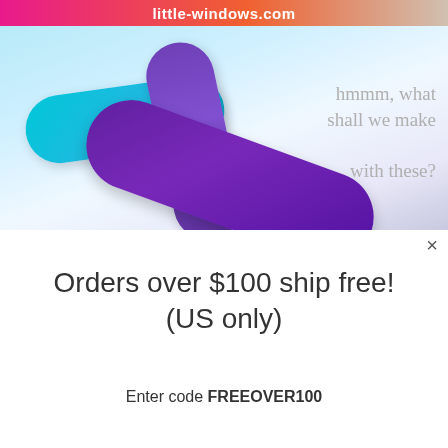[Figure (photo): Website banner for little-windows.com showing colorful transparent acrylic shapes (cyan, purple, dark purple) with text 'hmmm, what shall we make with these?']
×
Orders over $100 ship free!
(US only)
Enter code FREEOVER100